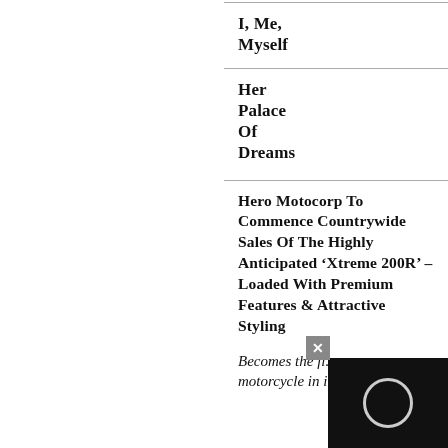I, Me, Myself
Her Palace Of Dreams
Hero Motocorp To Commence Countrywide Sales Of The Highly Anticipated ‘Xtreme 200R’ – Loaded With Premium Features & Attractive Styling
Becomes the fi... motorcycle in its category: